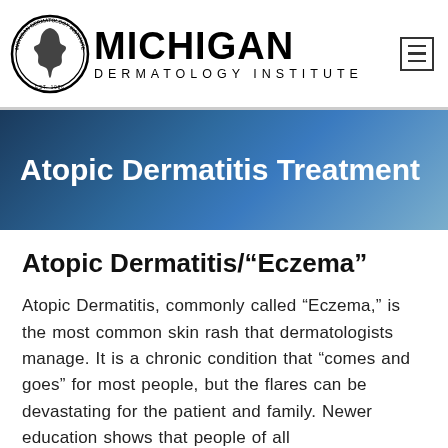Michigan Dermatology Institute
Atopic Dermatitis Treatment
Atopic Dermatitis/"Eczema"
Atopic Dermatitis, commonly called “Eczema,” is the most common skin rash that dermatologists manage. It is a chronic condition that “comes and goes” for most people, but the flares can be devastating for the patient and family. Newer education shows that people of all